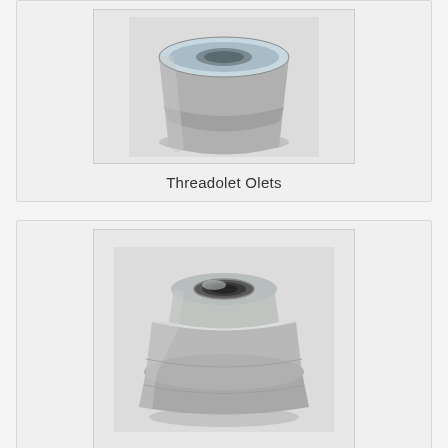[Figure (photo): Photo of a Threadolet Olet fitting - a silver/grey metallic pipe fitting, cylindrical with a wider base and narrower top, showing machined metal surface]
Threadolet Olets
[Figure (photo): Photo of another pipe fitting olet - a squat silver/grey metallic fitting with a central bore hole visible from the top, showing a stepped/flanged exterior profile]